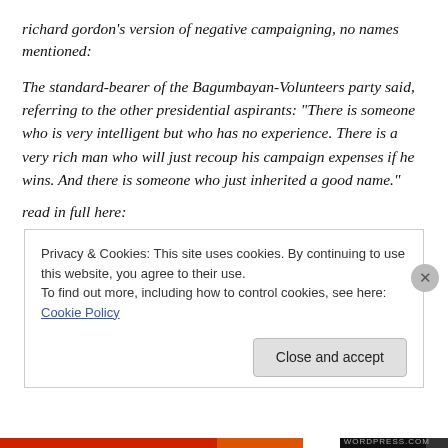richard gordon's version of negative campaigning, no names mentioned:
The standard-bearer of the Bagumbayan-Volunteers party said, referring to the other presidential aspirants: “There is someone who is very intelligent but who has no experience. There is a very rich man who will just recoup his campaign expenses if he wins. And there is someone who just inherited a good name.”
read in full here:
Privacy & Cookies: This site uses cookies. By continuing to use this website, you agree to their use.
To find out more, including how to control cookies, see here: Cookie Policy
Close and accept